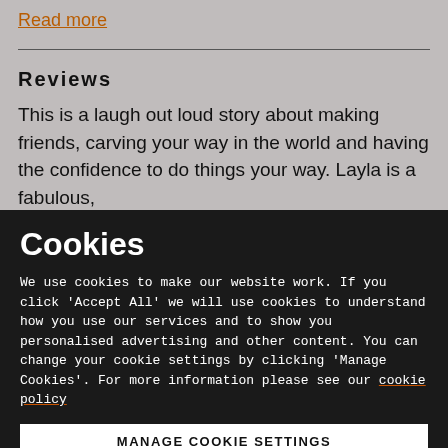Read more
Reviews
This is a laugh out loud story about making friends, carving your way in the world and having the confidence to do things your way. Layla is a fabulous,
Cookies
We use cookies to make our website work. If you click 'Accept All' we will use cookies to understand how you use our services and to show you personalised advertising and other content. You can change your cookie settings by clicking 'Manage Cookies'. For more information please see our cookie policy
MANAGE COOKIE SETTINGS
ACCEPT ALL COOKIES